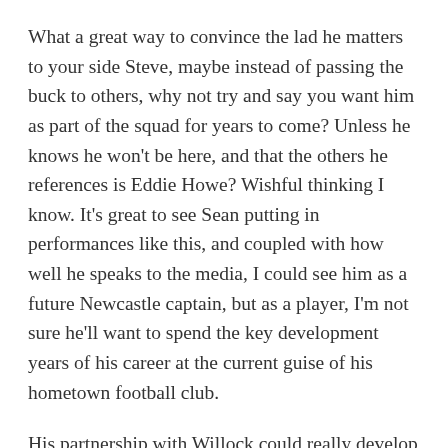What a great way to convince the lad he matters to your side Steve, maybe instead of passing the buck to others, why not try and say you want him as part of the squad for years to come? Unless he knows he won't be here, and that the others he references is Eddie Howe? Wishful thinking I know. It's great to see Sean putting in performances like this, and coupled with how well he speaks to the media, I could see him as a future Newcastle captain, but as a player, I'm not sure he'll want to spend the key development years of his career at the current guise of his hometown football club.
His partnership with Willock could really develop into a great pairing, with Hayden holding in behind them, that's the three most of us would play, but with the looming spectre of Jonjo Shelvey returning, and if this